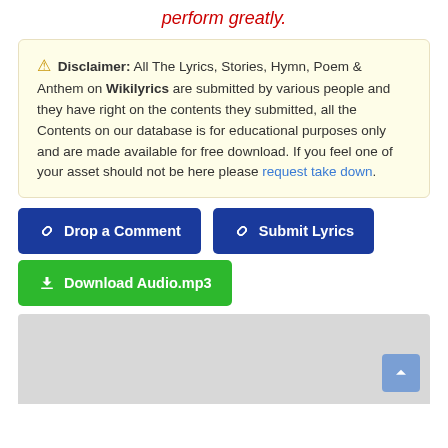perform greatly.
Disclaimer: All The Lyrics, Stories, Hymn, Poem & Anthem on Wikilyrics are submitted by various people and they have right on the contents they submitted, all the Contents on our database is for educational purposes only and are made available for free download. If you feel one of your asset should not be here please request take down.
Drop a Comment
Submit Lyrics
Download Audio.mp3